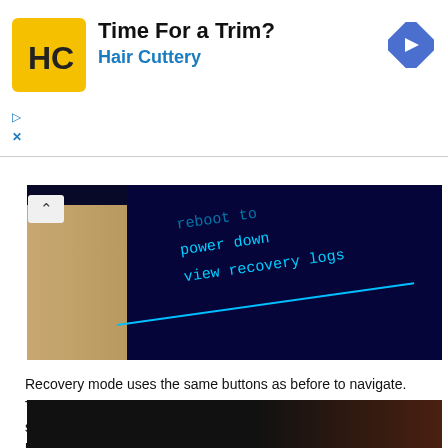[Figure (other): Hair Cuttery advertisement banner with yellow HC logo, text 'Time For a Trim? Hair Cuttery', blue diamond navigation icon, and ad controls (triangle and X)]
[Figure (screenshot): Screenshot of an Android recovery mode screen showing blue monospace text menu items: 'reboot to', 'power down', 'view recovery logs' on dark blue background, with beige colored object on left]
Recovery mode uses the same buttons as before to navigate. The volume buttons move the highlighter and the mute button selects what is highlighted. Selecting to “reboot system now” will boot the Echo Show normally, while the “reboot to bootloader” option will boot back into Fastboot mode. The “power down” option shuts down the device and the “view recovery logs” option takes you to a screen with a list of log files that can be viewed directly on the device, where the volume buttons are used to scroll the file and the mute button returns you to the list of log files.
[Figure (screenshot): Bottom partial screenshot showing a dark/black background, partially visible]